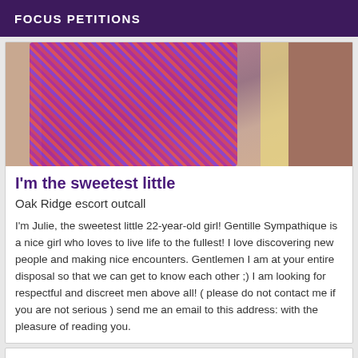FOCUS PETITIONS
[Figure (photo): Close-up photo showing fabric with colorful floral/patterned textile and skin tones on left and right sides]
I'm the sweetest little
Oak Ridge escort outcall
I'm Julie, the sweetest little 22-year-old girl! Gentille Sympathique is a nice girl who loves to live life to the fullest! I love discovering new people and making nice encounters. Gentlemen I am at your entire disposal so that we can get to know each other ;) I am looking for respectful and discreet men above all! ( please do not contact me if you are not serious ) send me an email to this address: with the pleasure of reading you.